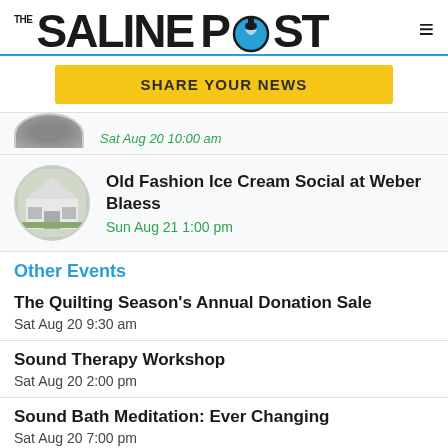The Saline Post
SHARE YOUR NEWS
Sat Aug 20 10:00 am
Old Fashion Ice Cream Social at Weber Blaess
Sun Aug 21 1:00 pm
Other Events
The Quilting Season's Annual Donation Sale
Sat Aug 20 9:30 am
Sound Therapy Workshop
Sat Aug 20 2:00 pm
Sound Bath Meditation: Ever Changing
Sat Aug 20 7:00 pm